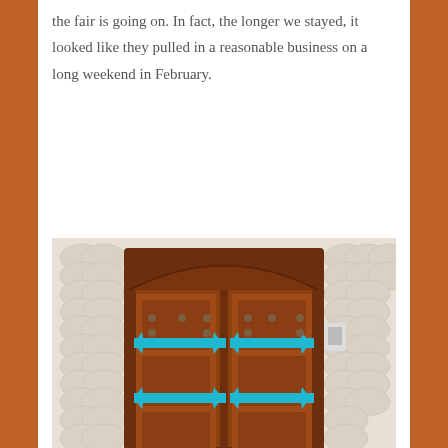the fair is going on. In fact, the longer we stayed, it looked like they pulled in a reasonable business on a long weekend in February.
[Figure (photo): Large ornate wooden double door with turquoise/blue decorative iron hardware, set in a white textured wall]
We could have walked all the way downtown,
[Figure (photo): Church or cathedral tower tops with ornate spires against a cloudy grey sky]